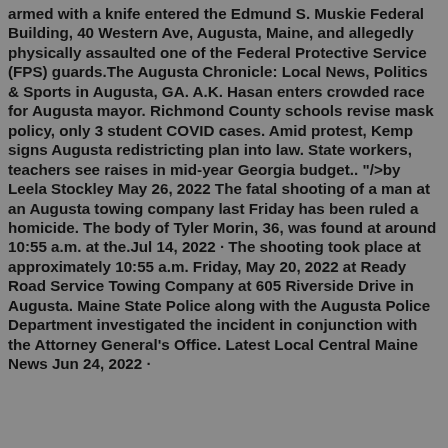armed with a knife entered the Edmund S. Muskie Federal Building, 40 Western Ave, Augusta, Maine, and allegedly physically assaulted one of the Federal Protective Service (FPS) guards.The Augusta Chronicle: Local News, Politics & Sports in Augusta, GA. A.K. Hasan enters crowded race for Augusta mayor. Richmond County schools revise mask policy, only 3 student COVID cases. Amid protest, Kemp signs Augusta redistricting plan into law. State workers, teachers see raises in mid-year Georgia budget.. "/>by Leela Stockley May 26, 2022 The fatal shooting of a man at an Augusta towing company last Friday has been ruled a homicide. The body of Tyler Morin, 36, was found at around 10:55 a.m. at the.Jul 14, 2022 · The shooting took place at approximately 10:55 a.m. Friday, May 20, 2022 at Ready Road Service Towing Company at 605 Riverside Drive in Augusta. Maine State Police along with the Augusta Police Department investigated the incident in conjunction with the Attorney General's Office. Latest Local Central Maine News Jun 24, 2022 ·